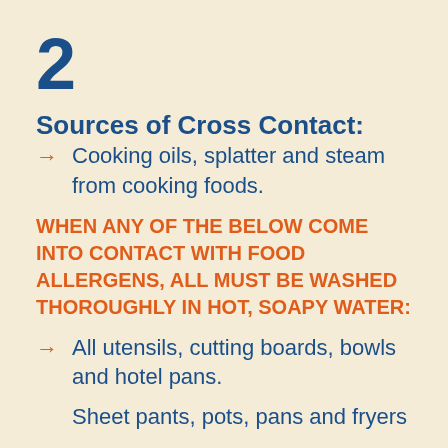2
Sources of Cross Contact:
Cooking oils, splatter and steam from cooking foods.
WHEN ANY OF THE BELOW COME INTO CONTACT WITH FOOD ALLERGENS, ALL MUST BE WASHED THOROUGHLY IN HOT, SOAPY WATER:
All utensils, cutting boards, bowls and hotel pans.
Sheet pants, pots, pans and fryers